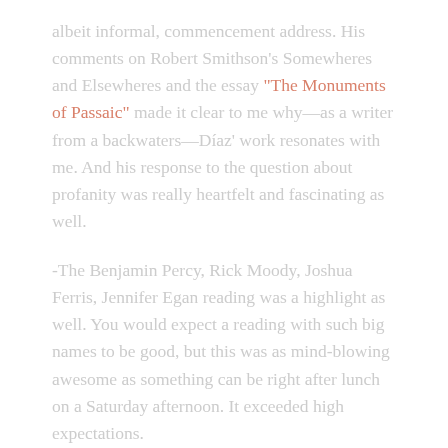albeit informal, commencement address. His comments on Robert Smithson's Somewheres and Elsewheres and the essay "The Monuments of Passaic" made it clear to me why—as a writer from a backwaters—Díaz' work resonates with me. And his response to the question about profanity was really heartfelt and fascinating as well.
-The Benjamin Percy, Rick Moody, Joshua Ferris, Jennifer Egan reading was a highlight as well. You would expect a reading with such big names to be good, but this was as mind-blowing awesome as something can be right after lunch on a Saturday afternoon. It exceeded high expectations.
-There were only a few panels I made it to, and none of those were all that interesting. Much of the problem is